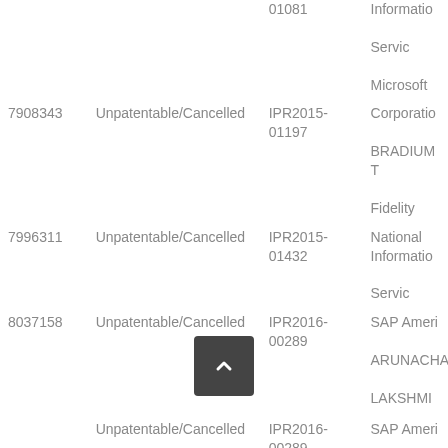| Patent | Status | IPR Case | Party |
| --- | --- | --- | --- |
|  |  | 01081 | Information Servic |
| 7908343 | Unpatentable/Cancelled | IPR2015-01197 | Microsoft Corporation BRADIUM T Fidelity |
| 7996311 | Unpatentable/Cancelled | IPR2015-01432 | National Information Servic |
| 8037158 | Unpatentable/Cancelled | IPR2016-00289 | SAP Ameri ARUNACHA LAKSHMI |
|  | Unpatentable/Cancelled | IPR2016-00289 | SAP Ameri ARUNACHA |